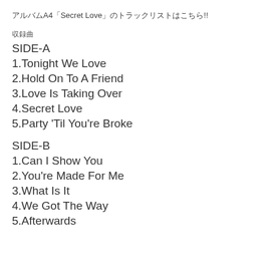アルバムA4「Secret Love」のトラックリストはこちら!!
収録曲
SIDE-A
1.Tonight We Love
2.Hold On To A Friend
3.Love Is Taking Over
4.Secret Love
5.Party 'Til You're Broke
SIDE-B
1.Can I Show You
2.You're Made For Me
3.What Is It
4.We Got The Way
5.Afterwards